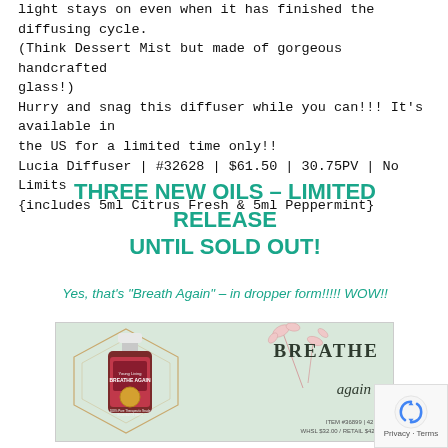light stays on even when it has finished the diffusing cycle. (Think Dessert Mist but made of gorgeous handcrafted glass!)
Hurry and snag this diffuser while you can!!! It's available in the US for a limited time only!!
Lucia Diffuser | #32628 | $61.50 | 30.75PV | No Limits {includes 5ml Citrus Fresh & 5ml Peppermint}
THREE NEW OILS – LIMITED RELEASE UNTIL SOLD OUT!
Yes, that's "Breath Again" – in dropper form!!!!! WOW!!
[Figure (photo): Product image of Breathe Again essential oil bottle by Young Living on a mint green background with hexagon design and floral illustration. Text reads BREATHE again with item details below.]